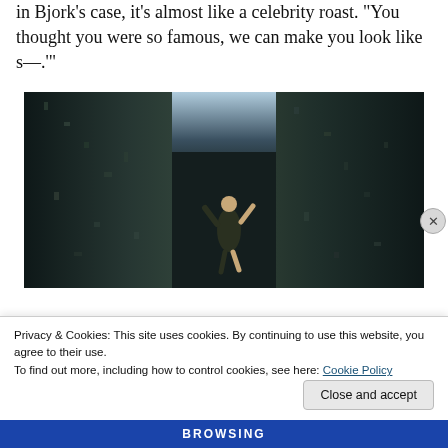in Bjork's case, it's almost like a celebrity roast. 'You thought you were so famous, we can make you look like s—.'
[Figure (photo): A person in dark clothing posed dramatically between two tall dark rocky cliff walls with a narrow gap showing a bright sky above. The scene is moody and dramatic, set in what appears to be an Icelandic lava rock landscape.]
Privacy & Cookies: This site uses cookies. By continuing to use this website, you agree to their use.
To find out more, including how to control cookies, see here: Cookie Policy
Close and accept
BROWSING